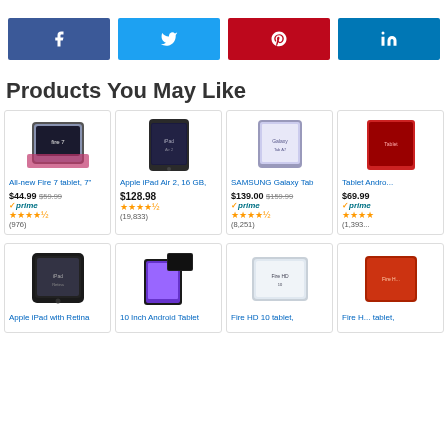[Figure (infographic): Social share buttons: Facebook, Twitter, Pinterest, LinkedIn]
Products You May Like
[Figure (infographic): Product card: All-new Fire 7 tablet, 7" - $44.99 (was $59.99), Prime, 4.5 stars (976 reviews)]
[Figure (infographic): Product card: Apple iPad Air 2, 16 GB - $128.98, 4.5 stars (19,833 reviews)]
[Figure (infographic): Product card: SAMSUNG Galaxy Tab - $139.00 (was $159.99), Prime, 4.5 stars (8,251 reviews)]
[Figure (infographic): Product card: Tablet Android - $69.99, Prime, stars (1,393+ reviews)]
[Figure (infographic): Product card: Apple iPad with Retina - image shown]
[Figure (infographic): Product card: 10 Inch Android Tablet - image shown]
[Figure (infographic): Product card: Fire HD 10 tablet - image shown]
[Figure (infographic): Product card: Fire H... tablet - image shown]